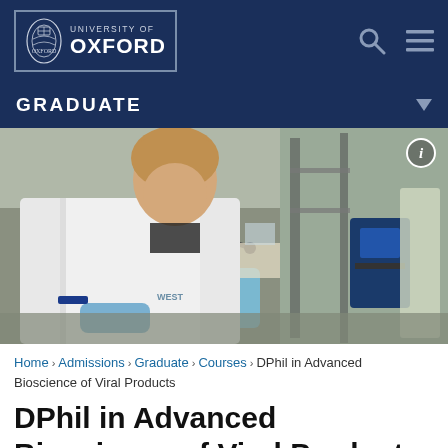[Figure (logo): University of Oxford crest and wordmark logo in white on dark navy background, inside a bordered box]
[Figure (photo): A researcher in a white lab coat working at a laboratory bench with scientific equipment, viewed from the side-front]
Home › Admissions › Graduate › Courses › DPhil in Advanced Bioscience of Viral Products
DPhil in Advanced Bioscience of Viral Products